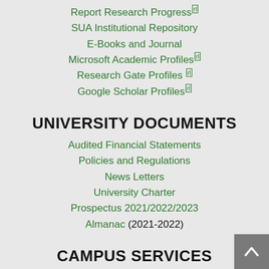Report Research Progress(rl)
SUA Institutional Repository
E-Books and Journal
Microsoft Academic Profiles(rl)
Research Gate Profiles (rl)
Google Scholar Profiles(rl)
UNIVERSITY DOCUMENTS
Audited Financial Statements
Policies and Regulations
News Letters
University Charter
Prospectus 2021/2022/2023
Almanac (2021-2022)
CAMPUS SERVICES
ICT Services
Legal Services